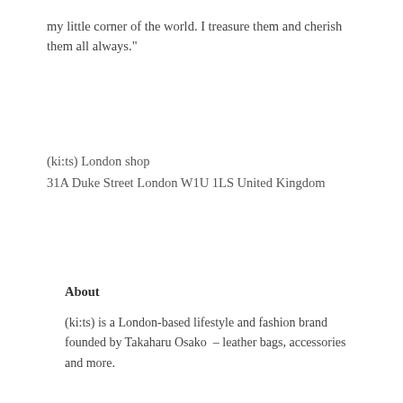my little corner of the world. I treasure them and cherish them all always."
(ki:ts) London shop
31A Duke Street London W1U 1LS United Kingdom
About
(ki:ts) is a London-based lifestyle and fashion brand founded by Takaharu Osako  – leather bags, accessories and more.